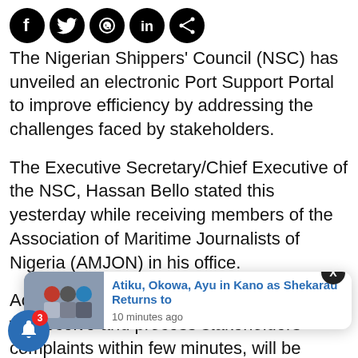[Figure (other): Social media share icons: Facebook, Twitter, WhatsApp, LinkedIn, Share]
The Nigerian Shippers' Council (NSC) has unveiled an electronic Port Support Portal to improve efficiency by addressing the challenges faced by stakeholders.
The Executive Secretary/Chief Executive of the NSC, Hassan Bello stated this yesterday while receiving members of the Association of Maritime Journalists of Nigeria (AMJON) in his office.
According to him, the online portal, which will receive and process stakeholders' complaints within few minutes, will be launched next Thursday by the Vice President, Yemi Osinbajo.
“We’re going online, realtime in virtually all our operations. …ts and N… …re comp… We must ask ourselves what makes importers in Nigeria …
[Figure (photo): Notification popup showing thumbnail image of people and headline: Atiku, Okowa, Ayu in Kano as Shekarau Returns to — 10 minutes ago]